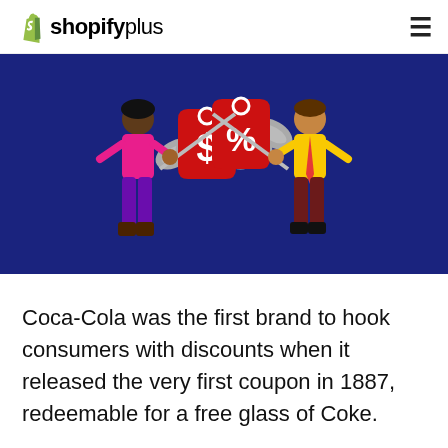Shopify Plus
[Figure (illustration): Illustration on dark blue background showing two cartoon figures (a woman in pink top and purple pants on the left, a man in yellow shirt and dark pants on the right) each holding grey chain links. Between them are two large red price tags, one with a dollar sign and one with a percent sign, crossed by scissors motif.]
Coca-Cola was the first brand to hook consumers with discounts when it released the very first coupon in 1887, redeemable for a free glass of Coke.